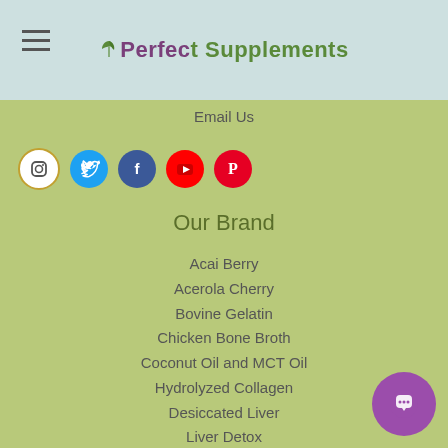Perfect Supplements
Email Us
[Figure (other): Row of five social media icon circles: Instagram (gradient border), Twitter (blue), Facebook (dark blue), YouTube (red), Pinterest (red)]
Our Brand
Acai Berry
Acerola Cherry
Bovine Gelatin
Chicken Bone Broth
Coconut Oil and MCT Oil
Hydrolyzed Collagen
Desiccated Liver
Liver Detox
Magnesium Citrate
Matchinga
Multi-Organs
Rhodiola Rosea